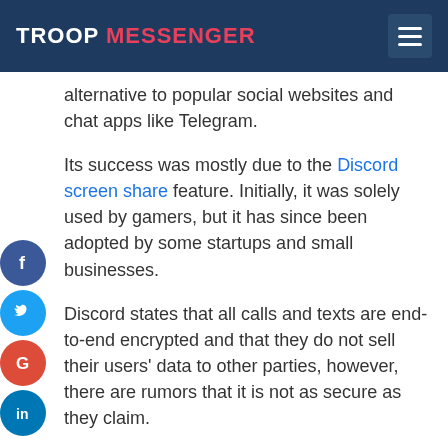TROOP MESSENGER
alternative to popular social websites and chat apps like Telegram.
Its success was mostly due to the Discord screen share feature. Initially, it was solely used by gamers, but it has since been adopted by some startups and small businesses.
Discord states that all calls and texts are end-to-end encrypted and that they do not sell their users' data to other parties, however, there are rumors that it is not as secure as they claim.
Snapchat